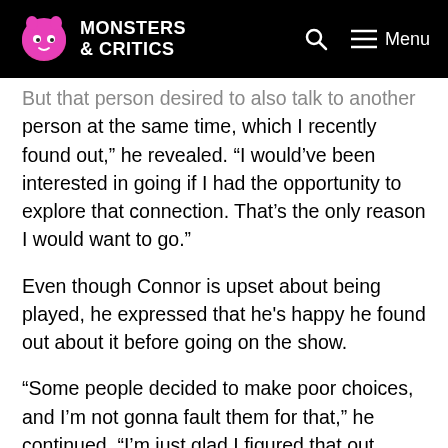Monsters & Critics
But that person desired to also talk to another person at the same time, which I recently found out,” he revealed. “I would’ve been interested in going if I had the opportunity to explore that connection. That’s the only reason I would want to go.”
Even though Connor is upset about being played, he expressed that he's happy he found out about it before going on the show.
“Some people decided to make poor choices, and I’m not gonna fault them for that,” he continued. “I’m just glad I figured that out sooner